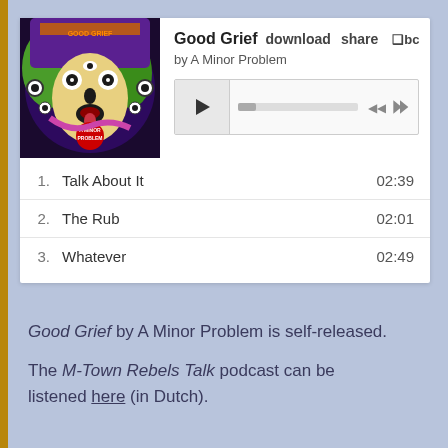[Figure (screenshot): Bandcamp music player widget showing 'Good Grief' by A Minor Problem with album art, play controls, and track listing]
Good Grief by A Minor Problem is self-released.
The M-Town Rebels Talk podcast can be listened here (in Dutch).